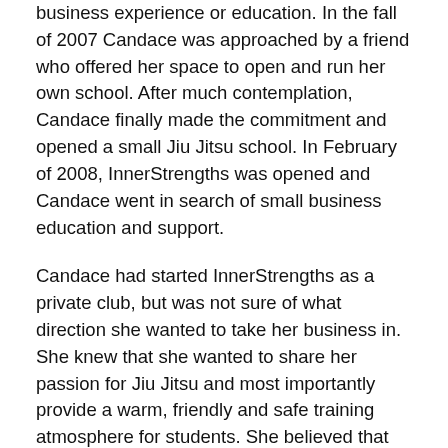business experience or education. In the fall of 2007 Candace was approached by a friend who offered her space to open and run her own school. After much contemplation, Candace finally made the commitment and opened a small Jiu Jitsu school. In February of 2008, InnerStrengths was opened and Candace went in search of small business education and support.
Candace had started InnerStrengths as a private club, but was not sure of what direction she wanted to take her business in. She knew that she wanted to share her passion for Jiu Jitsu and most importantly provide a warm, friendly and safe training atmosphere for students. She believed that the students would benefit most from fostering their skills thus empowering them and building character and self-esteem. Initially her main focus was to work with children and women but, after several requests, she opened her classroom up to include men.